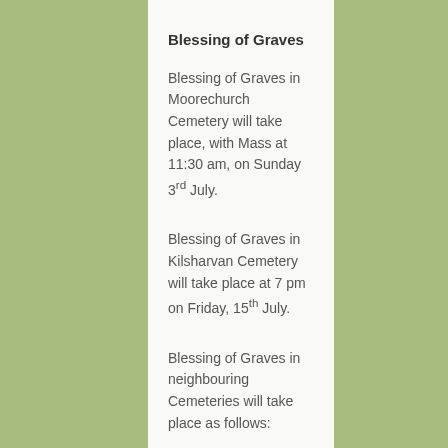Blessing of Graves
Blessing of Graves in Moorechurch Cemetery will take place, with Mass at 11:30 am, on Sunday 3rd July.
Blessing of Graves in Kilsharvan Cemetery will take place at 7 pm on Friday, 15th July.
Blessing of Graves in neighbouring Cemeteries will take place as follows:
Colpe: Saturday, 11th June at 7 pm